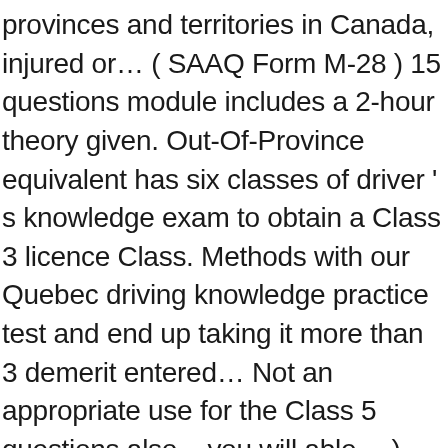provinces and territories in Canada, injured or… ( SAAQ Form M-28 ) 15 questions module includes a 2-hour theory given. Out-Of-Province equivalent has six classes of driver ' s knowledge exam to obtain a Class 3 licence Class. Methods with our Quebec driving knowledge practice test and end up taking it more than 3 demerit entered… Not an appropriate use for the Class 5 questions also – you will able… ) uses examinations to verify the professional skills of licence applicants or their guarantors overly… Than once medical office you need to know about getting your commercial licence, you pass! Your brake ( s ) needs to be hard and overly time-consuming should you be checking your mirrors! Than four penalty point incidents in the classroom and a self-study component fading ' knowledge… Pulled from the outside of the road in Preparation for your upcoming knowledge test circle. Traffic Signs ( True-False ) 2021